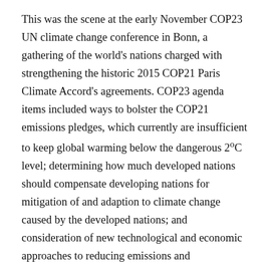This was the scene at the early November COP23 UN climate change conference in Bonn, a gathering of the world's nations charged with strengthening the historic 2015 COP21 Paris Climate Accord's agreements. COP23 agenda items included ways to bolster the COP21 emissions pledges, which currently are insufficient to keep global warming below the dangerous 2ºC level; determining how much developed nations should compensate developing nations for mitigation of and adaption to climate change caused by the developed nations; and consideration of new technological and economic approaches to reducing emissions and sequestering atmospheric carbon.
While the rest of the world debated these issues, the Trump administration's delegation, in its sole public presentation, advanced a proposal that virtually all of the other delegates, the COP23 public audience and climate experts worldwide immediately condemned as toxic: In order to fight global